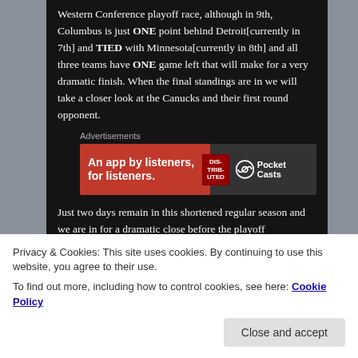Western Conference playoff race, although in 9th, Columbus is just ONE point behind Detroit[currently in 7th] and TIED with Minnesota[currently in 8th] and all three teams have ONE game left that will make for a very dramatic finish. When the final standings are in we will take a closer look at the Canucks and their first round opponent.
Advertisements
[Figure (other): Pocket Casts advertisement banner: red background with text 'An app by listeners, for listeners.' and Pocket Casts logo]
Just two days remain in this shortened regular season and we are in for a dramatic close before the playoff
Privacy & Cookies: This site uses cookies. By continuing to use this website, you agree to their use.
To find out more, including how to control cookies, see here: Cookie Policy
Close and accept